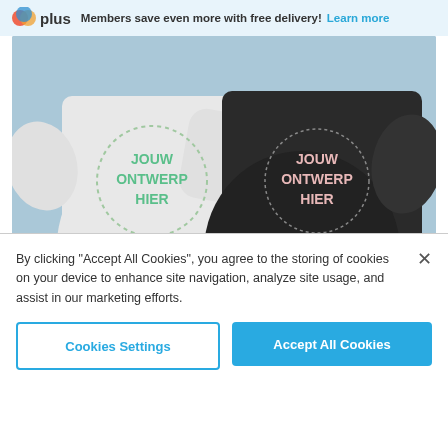plus Members save even more with free delivery! Learn more
[Figure (photo): Two people wearing custom sweatshirts — one white and one black — each with a dotted circle design reading 'JOUW ONTWERP HIER']
Discount code CLOTHINGAU
Personalised clothing is always a good idea! Share your favourite moment together on matching sweatshirts.
SHOP SWEATSHIRTS (partially visible button)
By clicking "Accept All Cookies", you agree to the storing of cookies on your device to enhance site navigation, analyze site usage, and assist in our marketing efforts.
Cookies Settings | Accept All Cookies